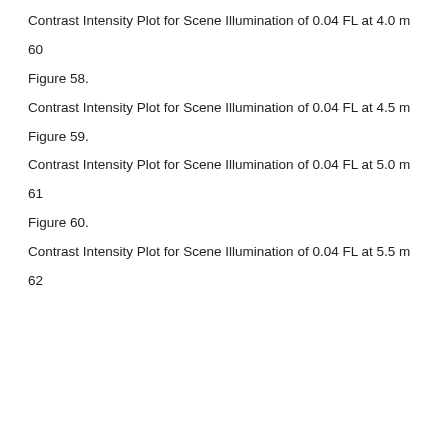Contrast Intensity Plot for Scene Illumination of 0.04 FL at 4.0 m
60
Figure 58.
Contrast Intensity Plot for Scene Illumination of 0.04 FL at 4.5 m
Figure 59.
Contrast Intensity Plot for Scene Illumination of 0.04 FL at 5.0 m
61
Figure 60.
Contrast Intensity Plot for Scene Illumination of 0.04 FL at 5.5 m
62